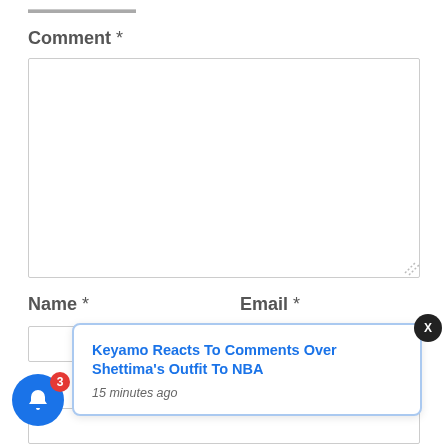Comment *
[Figure (screenshot): Empty comment textarea form field with resize handle]
Name *
Email *
[Figure (screenshot): Name input text box (empty)]
[Figure (screenshot): Email input text box (empty)]
site
[Figure (screenshot): Website input text box (empty), partially visible with red button]
[Figure (infographic): Blue notification bell icon with red badge showing 3 unread notifications]
Keyamo Reacts To Comments Over Shettima's Outfit To NBA
15 minutes ago
[Figure (screenshot): Black circular X close button]